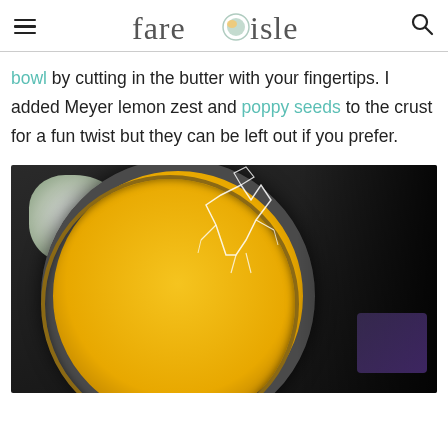fare isle
bowl by cutting in the butter with your fingertips. I added Meyer lemon zest and poppy seeds to the crust for a fun twist but they can be left out if you prefer.
[Figure (photo): Overhead view of a Meyer lemon tart in a dark metal tart pan, with yellow lemons, white flowers, and a small white decorative figure on a dark background]